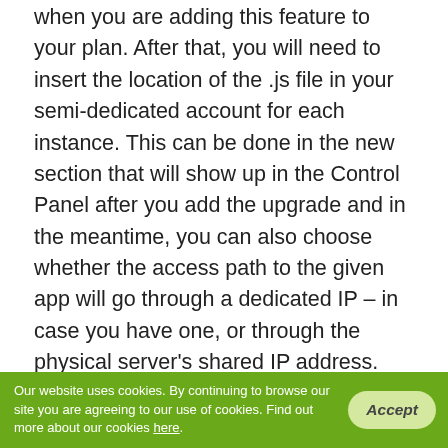when you are adding this feature to your plan. After that, you will need to insert the location of the .js file in your semi-dedicated account for each instance. This can be done in the new section that will show up in the Control Panel after you add the upgrade and in the meantime, you can also choose whether the access path to the given app will go through a dedicated IP – in case you have one, or through the physical server's shared IP address. Each instance that you add can be rebooted or removed separately and you can view your applications' output with just a few clicks.
Node.js in VPS Servers
Our website uses cookies. By continuing to browse our site you are agreeing to our use of cookies. Find out more about our cookies here.